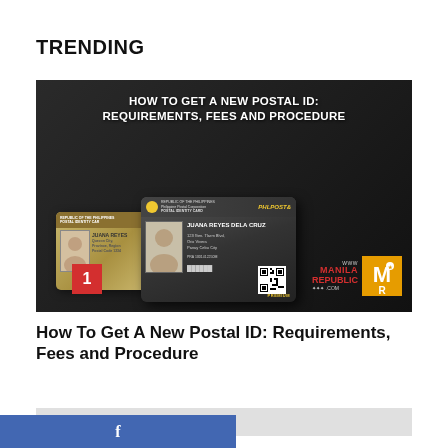TRENDING
[Figure (photo): Image of Philippine Postal ID cards (front and back) on a dark background with text 'HOW TO GET A NEW POSTAL ID: REQUIREMENTS, FEES AND PROCEDURE' and Manila Republic branding logo. A red badge with number 1 is in the bottom-left corner.]
How To Get A New Postal ID: Requirements, Fees and Procedure
[Figure (logo): Facebook share button bar in blue (#4267B2) with white 'f' icon]